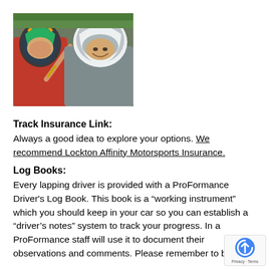[Figure (photo): Two people wearing motorsport helmets inside a car, smiling. One is wearing a red shirt and making a hand gesture, the other is wearing a grey shirt.]
Track Insurance Link:
Always a good idea to explore your options. We recommend Lockton Affinity Motorsports Insurance.
Log Books:
Every lapping driver is provided with a ProFormance Driver's Log Book. This book is a “working instrument” which you should keep in your car so you can establish a “driver’s notes” system to track your progress. In a ProFormance staff will use it to document their observations and comments. Please remember to bring